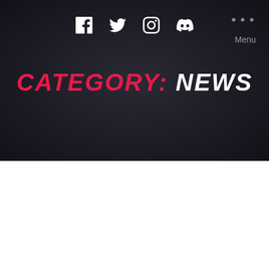Social icons: Facebook, Twitter, Instagram, Discord | Menu
CATEGORY: NEWS
We use cookies on our website to give you the most relevant experience by remembering your preferences and repeat visits. By clicking “Accept All”, you consent to the use of ALL the cookies. However, you may visit “Cookie Settings” to provide a controlled consent.
Cookie Settings | Accept All